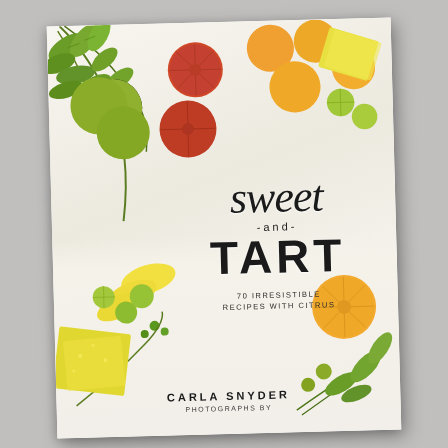[Figure (photo): Book cover of 'Sweet and Tart' by Carla Snyder, photographed on a light gray surface. The cover shows various citrus fruits including blood oranges, regular oranges, limes, lemons, green citrus fruits with leaves and branches, lemon wedges, and what appear to be yellow sugary confections arranged on a white wooden surface. The title 'sweet -and- TART' is displayed in mixed script and bold block lettering in the center of the cover.]
sweet -and- TART
70 IRRESISTIBLE RECIPES WITH CITRUS
CARLA SNYDER
PHOTOGRAPHS BY